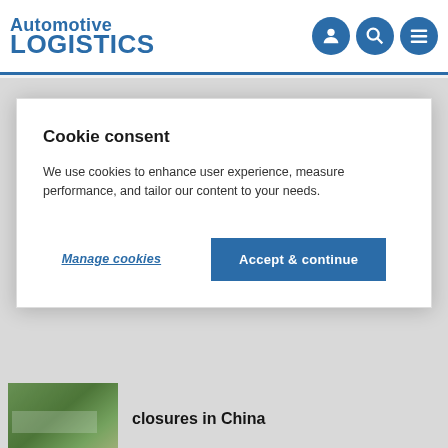Automotive LOGISTICS
Cookie consent
We use cookies to enhance user experience, measure performance, and tailor our content to your needs.
Manage cookies
Accept & continue
closures in China
Blueprints for the rebound at North America's vehicle ports